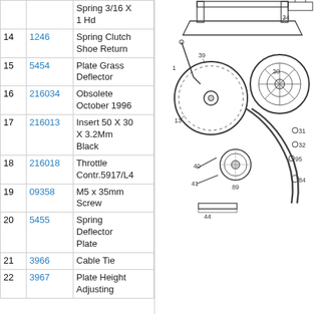| # | Part No. | Description |
| --- | --- | --- |
|  |  | Spring 3/16 X 1 Hd |
| 14 | 1246 | Spring Clutch Shoe Return |
| 15 | 5454 | Plate Grass Deflector |
| 16 | 216034 | Obsolete October 1996 |
| 17 | 216013 | Insert 50 X 30 X 3.2Mm Black |
| 18 | 216018 | Throttle Contr.5917/L4 |
| 19 | 09358 | M5 x 35mm Screw |
| 20 | 5455 | Spring Deflector Plate |
| 21 | 3966 | Cable Tie |
| 22 | 3967 | Plate Height Adjusting |
[Figure (engineering-diagram): Exploded parts diagram of a lawn mower drive/clutch assembly showing numbered components including wheels, belt, clutch, and related parts. Part numbers visible: 1, 13, 30, 31, 32, 34, 39, 40, 41, 44, 84, 89, 95.]